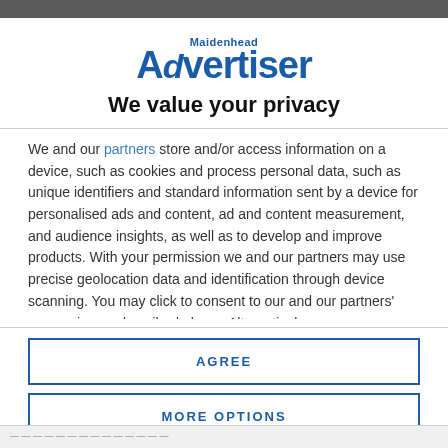[Figure (logo): Maidenhead Advertiser logo in blue]
We value your privacy
We and our partners store and/or access information on a device, such as cookies and process personal data, such as unique identifiers and standard information sent by a device for personalised ads and content, ad and content measurement, and audience insights, as well as to develop and improve products. With your permission we and our partners may use precise geolocation data and identification through device scanning. You may click to consent to our and our partners' processing as described above. Alternatively you may access more detailed information and change your preferences before consenting
AGREE
MORE OPTIONS